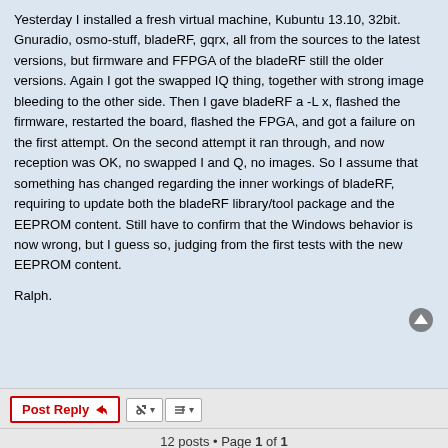Yesterday I installed a fresh virtual machine, Kubuntu 13.10, 32bit. Gnuradio, osmo-stuff, bladeRF, gqrx, all from the sources to the latest versions, but firmware and FFPGA of the bladeRF still the older versions. Again I got the swapped IQ thing, together with strong image bleeding to the other side. Then I gave bladeRF a -L x, flashed the firmware, restarted the board, flashed the FPGA, and got a failure on the first attempt. On the second attempt it ran through, and now reception was OK, no swapped I and Q, no images. So I assume that something has changed regarding the inner workings of bladeRF, requiring to update both the bladeRF library/tool package and the EEPROM content. Still have to confirm that the Windows behavior is now wrong, but I guess so, judging from the first tests with the new EEPROM content.
Ralph.
Post Reply   [tools]   [sort]
12 posts • Page 1 of 1
Jump to
Board index   Delete cookies   All times are UTC-07:00
Powered by phpBB® Forum Software © phpBB Limited
Privacy | Terms